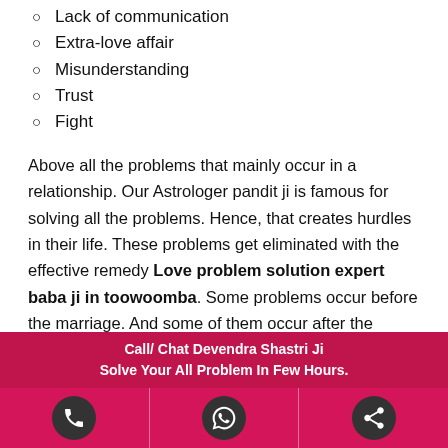Lack of communication
Extra-love affair
Misunderstanding
Trust
Fight
Above all the problems that mainly occur in a relationship. Our Astrologer pandit ji is famous for solving all the problems. Hence, that creates hurdles in their life. These problems get eliminated with the effective remedy Love problem solution expert baba ji in toowoomba. Some problems occur before the marriage. And some of them occur after the marriage. Therefore, by consulting with our astrologer pandit ji you can make your life hassle-free.
How We Are Expert In Eliminating All The
Call/ Chat Devendra Shastri Ji
Solve Your All Problem In Few Hours.